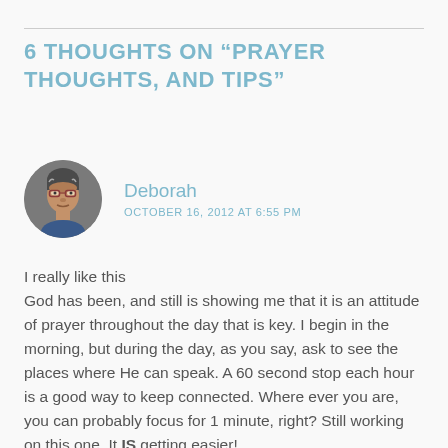6 THOUGHTS ON “PRAYER THOUGHTS, AND TIPS”
[Figure (photo): Circular avatar photo of a woman with glasses and short dark/grey hair]
Deborah
OCTOBER 16, 2012 AT 6:55 PM
I really like this
God has been, and still is showing me that it is an attitude of prayer throughout the day that is key. I begin in the morning, but during the day, as you say, ask to see the places where He can speak. A 60 second stop each hour is a good way to keep connected. Where ever you are, you can probably focus for 1 minute, right? Still working on this one. It IS getting easier!